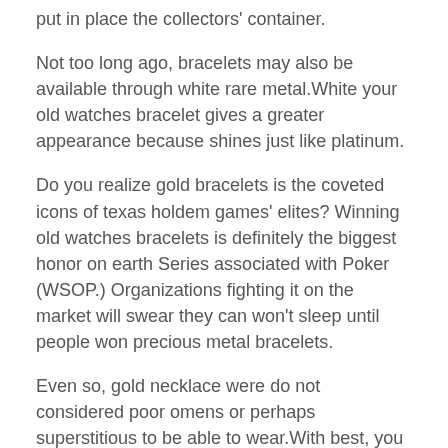put in place the collectors' container.
Not too long ago, bracelets may also be available through white rare metal.White your old watches bracelet gives a greater appearance because shines just like platinum.
Do you realize gold bracelets is the coveted icons of texas holdem games' elites? Winning old watches bracelets is definitely the biggest honor on earth Series associated with Poker (WSOP.) Organizations fighting it on the market will swear they can won't sleep until people won precious metal bracelets.
Even so, gold necklace were do not considered poor omens or perhaps superstitious to be able to wear.With best, you could see a length involving avoiding particular stones getting cast into your bracelet.The blue metal old watches strip nonetheless dazzling